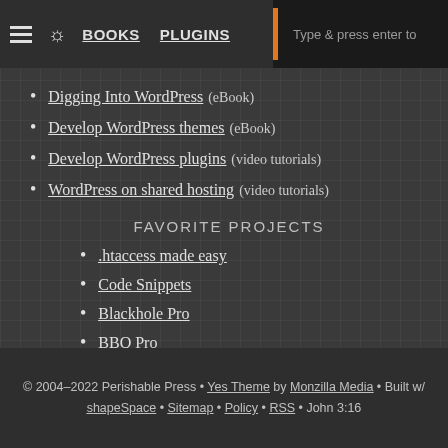BOOKS  PLUGINS  [search: Type & press enter to]
Digging Into WordPress (eBook)
Develop WordPress themes (eBook)
Develop WordPress plugins (video tutorials)
WordPress on shared hosting (video tutorials)
FAVORITE PROJECTS
.htaccess made easy
Code Snippets
Blackhole Pro
BBQ Pro
USP Pro
© 2004–2022 Perishable Press • Yes Theme by Monzilla Media • Built w/ shapeSpace • Sitemap • Policy • RSS • John 3:16